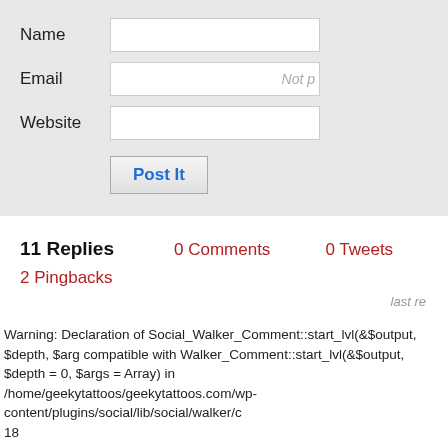Name [input field]
Email [input field] Not p
Website [input field]
Post It
11 Replies   0 Comments   0 Tweets   0 Facebo
2 Pingbacks
last re
Warning: Declaration of Social_Walker_Comment::start_lvl(&$output, $depth, $arg compatible with Walker_Comment::start_lvl(&$output, $depth = 0, $args = Array) in /home/geekytattoos/geekytattoos.com/wp-content/plugins/social/lib/social/walker/c 18
Warning: Declaration of Social_Walker_Comment::end_lvl(&$output, $depth, $args compatible with Walker_Comment::end_lvl(&$output, $depth = 0, $args = Array) in /home/geekytattoos/geekytattoos.com/wp-content/plugins/social/lib/social/walker/c 42